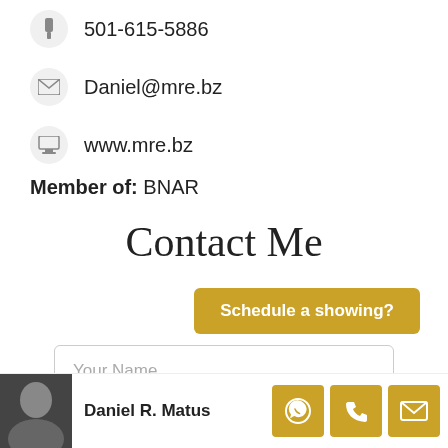501-615-5886
Daniel@mre.bz
www.mre.bz
Member of: BNAR
Contact Me
Schedule a showing?
Your Name
Daniel R. Matus